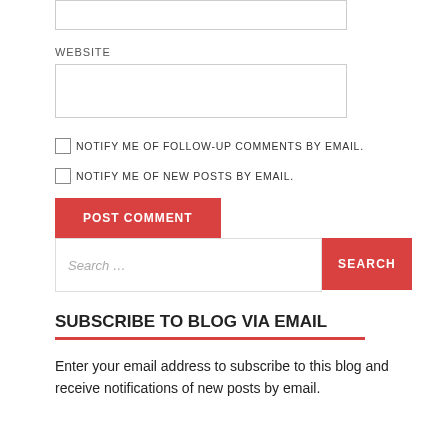[Figure (other): Text input box (top, partially visible)]
WEBSITE
[Figure (other): Website text input field]
NOTIFY ME OF FOLLOW-UP COMMENTS BY EMAIL.
NOTIFY ME OF NEW POSTS BY EMAIL.
[Figure (other): POST COMMENT red button]
[Figure (other): Search bar with Search button]
SUBSCRIBE TO BLOG VIA EMAIL
Enter your email address to subscribe to this blog and receive notifications of new posts by email.